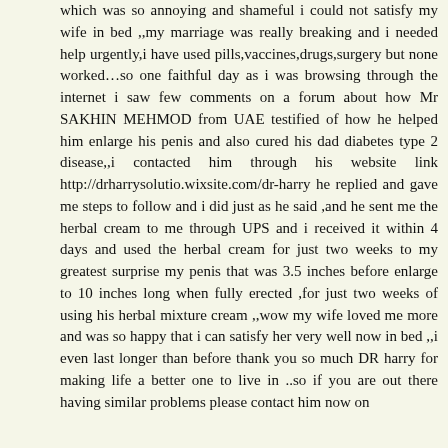which was so annoying and shameful i could not satisfy my wife in bed ,,my marriage was really breaking and i needed help urgently,i have used pills,vaccines,drugs,surgery but none worked…so one faithful day as i was browsing through the internet i saw few comments on a forum about how Mr SAKHIN MEHMOD from UAE testified of how he helped him enlarge his penis and also cured his dad diabetes type 2 disease,,i contacted him through his website link http://drharrysolutio.wixsite.com/dr-harry he replied and gave me steps to follow and i did just as he said ,and he sent me the herbal cream to me through UPS and i received it within 4 days and used the herbal cream for just two weeks to my greatest surprise my penis that was 3.5 inches before enlarge to 10 inches long when fully erected ,for just two weeks of using his herbal mixture cream ,,wow my wife loved me more and was so happy that i can satisfy her very well now in bed ,,i even last longer than before thank you so much DR harry for making life a better one to live in ..so if you are out there having similar problems please contact him now on